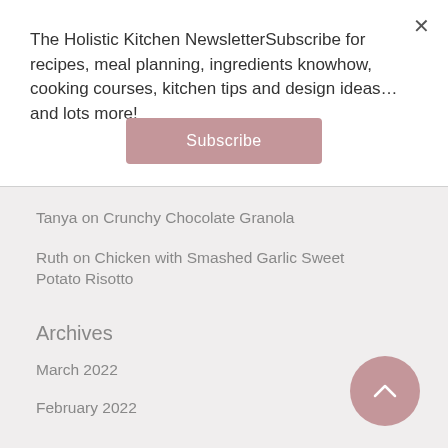The Holistic Kitchen NewsletterSubscribe for recipes, meal planning, ingredients knowhow, cooking courses, kitchen tips and design ideas… and lots more!
Subscribe
Tanya on Crunchy Chocolate Granola
Ruth on Chicken with Smashed Garlic Sweet Potato Risotto
Archives
March 2022
February 2022